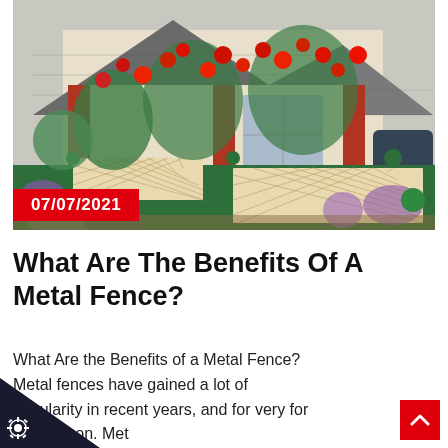[Figure (photo): Photograph of a residential house with a decorative green metal fence with cream lattice panels in the foreground, red flowering plants and shrubs in the garden, and a semi-detached bungalow with grey roof tiles in the background.]
07/07/2021
What Are The Benefits Of A Metal Fence?
What Are the Benefits of a Metal Fence? Metal fences have gained a lot of popularity in recent years, and for very for ood reason. Met